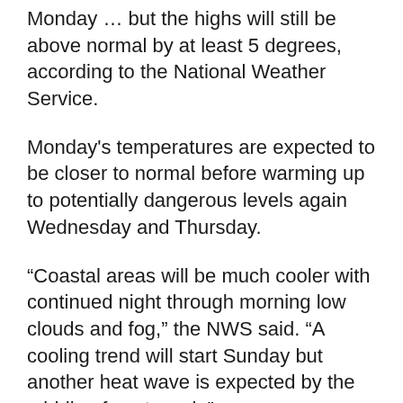Monday … but the highs will still be above normal by at least 5 degrees, according to the National Weather Service.
Monday's temperatures are expected to be closer to normal before warming up to potentially dangerous levels again Wednesday and Thursday.
“Coastal areas will be much cooler with continued night through morning low clouds and fog,” the NWS said. “A cooling trend will start Sunday but another heat wave is expected by the middle of next week.”